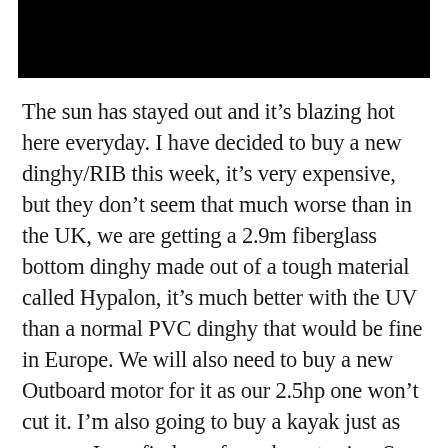[Figure (photo): Black redacted/header bar at the top of the page]
The sun has stayed out and it’s blazing hot here everyday. I have decided to buy a new dinghy/RIB this week, it’s very expensive, but they don’t seem that much worse than in the UK, we are getting a 2.9m fiberglass bottom dinghy made out of a tough material called Hypalon, it’s much better with the UV than a normal PVC dinghy that would be fine in Europe. We will also need to buy a new Outboard motor for it as our 2.5hp one won’t cut it. I’m also going to buy a kayak just as soon as I can find one for a decent price. So once I have paid for the Bowsprit, Mainsail, Dinghy,